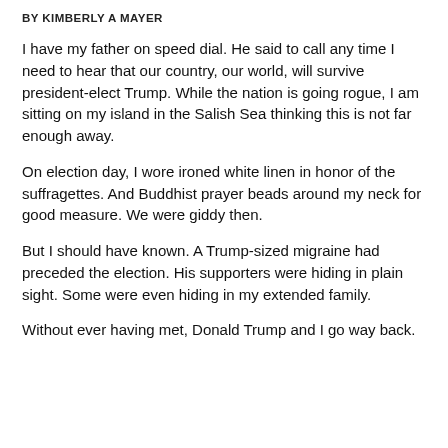BY KIMBERLY A MAYER
I have my father on speed dial. He said to call any time I need to hear that our country, our world, will survive president-elect Trump. While the nation is going rogue, I am sitting on my island in the Salish Sea thinking this is not far enough away.
On election day, I wore ironed white linen in honor of the suffragettes. And Buddhist prayer beads around my neck for good measure. We were giddy then.
But I should have known. A Trump-sized migraine had preceded the election. His supporters were hiding in plain sight. Some were even hiding in my extended family.
Without ever having met, Donald Trump and I go way back.